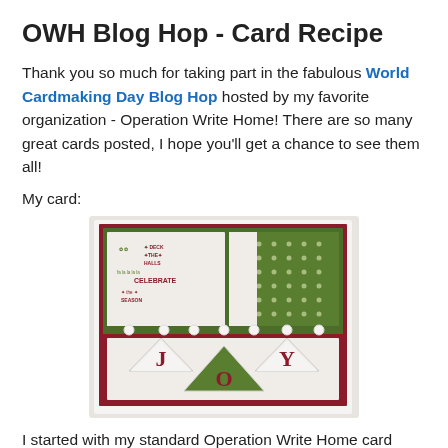OWH Blog Hop - Card Recipe
Thank you so much for taking part in the fabulous World Cardmaking Day Blog Hop hosted by my favorite organization - Operation Write Home! There are so many great cards posted, I hope you'll get a chance to see them all!
My card:
[Figure (photo): A handmade Christmas card featuring a JOY banner with green and red colors, polka dot patterns, and stamped holiday text including DECK THE HALLS, CELEBRATE, and seasonal greetings. The card has a layered paper design with pearl embellishments.]
I started with my standard Operation Write Home card base, which I print in bulk. You can download a pdf HERE. I print these out and cut the 8.5x11 sheet in half to give me two